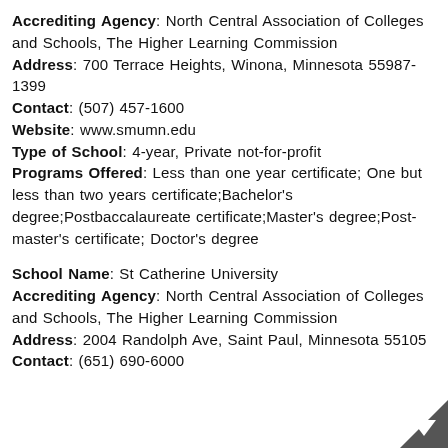Accrediting Agency: North Central Association of Colleges and Schools, The Higher Learning Commission
Address: 700 Terrace Heights, Winona, Minnesota 55987-1399
Contact: (507) 457-1600
Website: www.smumn.edu
Type of School: 4-year, Private not-for-profit
Programs Offered: Less than one year certificate; One but less than two years certificate;Bachelor's degree;Postbaccalaureate certificate;Master's degree;Post-master's certificate; Doctor's degree
School Name: St Catherine University
Accrediting Agency: North Central Association of Colleges and Schools, The Higher Learning Commission
Address: 2004 Randolph Ave, Saint Paul, Minnesota 55105
Contact: (651) 690-6000